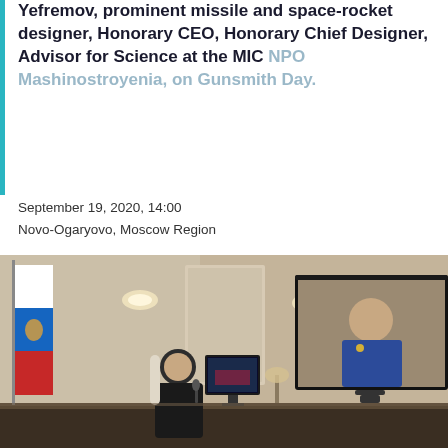Yefremov, prominent missile and space-rocket designer, Honorary CEO, Honorary Chief Designer, Advisor for Science at the MIC NPO Mashinostroyenia, on Gunsmith Day.
September 19, 2020, 14:00
Novo-Ogaryovo, Moscow Region
[Figure (photo): Photo of a man (likely Putin) sitting at a desk viewing a large screen TV showing another man in a blue jacket during a video conference. A Russian flag is visible on the left side. A smaller computer monitor is on the desk in the center.]